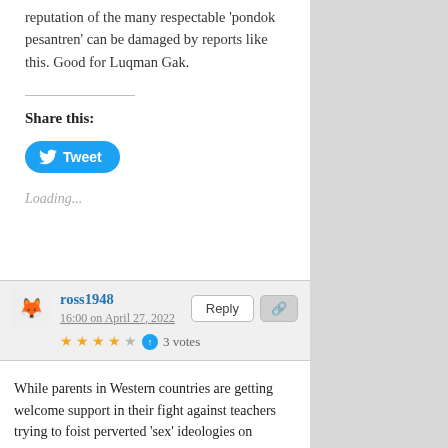reputation of the many respectable 'pondok pesantren' can be damaged by reports like this. Good for Luqman Gak.
Share this:
[Figure (other): Tweet button with Twitter bird icon]
Loading...
ross1948
16:00 on April 27, 2022
3 votes
While parents in Western countries are getting welcome support in their fight against teachers trying to foist perverted 'sex' ideologies on children…